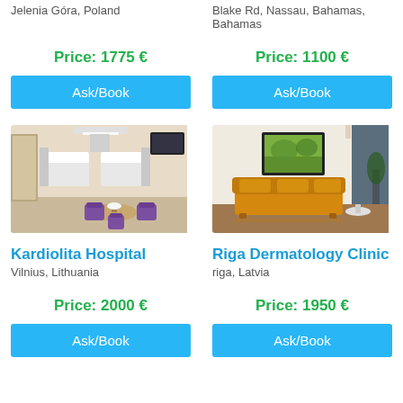Jelenia Góra, Poland
Blake Rd, Nassau, Bahamas, Bahamas
Price: 1775 €
Price: 1100 €
Ask/Book
Ask/Book
[Figure (photo): Hospital room with two beds, purple chairs, and a round table]
[Figure (photo): Clinic lounge with orange leather sofa and a framed painting on the wall]
Kardiolita Hospital
Vilnius, Lithuania
Riga Dermatology Clinic
riga, Latvia
Price: 2000 €
Price: 1950 €
Ask/Book
Ask/Book